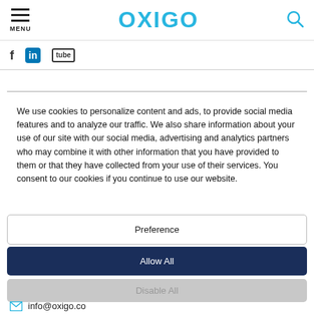OXIGO
[Figure (screenshot): Social media icons: Facebook, LinkedIn, YouTube]
We use cookies to personalize content and ads, to provide social media features and to analyze our traffic. We also share information about your use of our site with our social media, advertising and analytics partners who may combine it with other information that you have provided to them or that they have collected from your use of their services. You consent to our cookies if you continue to use our website.
Preference
Allow All
Disable All
info@oxigo.co